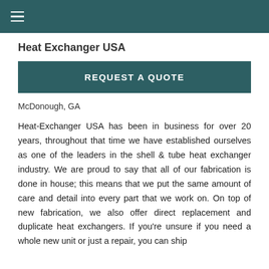≡ (hamburger menu)
Heat Exchanger USA
REQUEST A QUOTE
McDonough, GA
Heat-Exchanger USA has been in business for over 20 years, throughout that time we have established ourselves as one of the leaders in the shell & tube heat exchanger industry. We are proud to say that all of our fabrication is done in house; this means that we put the same amount of care and detail into every part that we work on. On top of new fabrication, we also offer direct replacement and duplicate heat exchangers. If you're unsure if you need a whole new unit or just a repair, you can ship